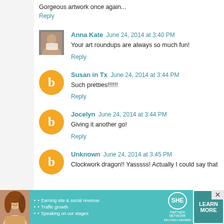Gorgeous artwork once again...
Reply
Anna Kate  June 24, 2014 at 3:40 PM
Your art roundups are always so much fun!
Reply
Susan in Tx  June 24, 2014 at 3:44 PM
Such pretties!!!!!!
Reply
Jocelyn  June 24, 2014 at 3:44 PM
Giving it another go!
Reply
Unknown  June 24, 2014 at 3:45 PM
Clockwork dragon!! Yasssss! Actually I could say that
[Figure (infographic): SHE Partner Network advertisement banner with woman photo, bullet points about earning site & social revenue, traffic growth, speaking on our stages, SHE logo, and Learn More button]